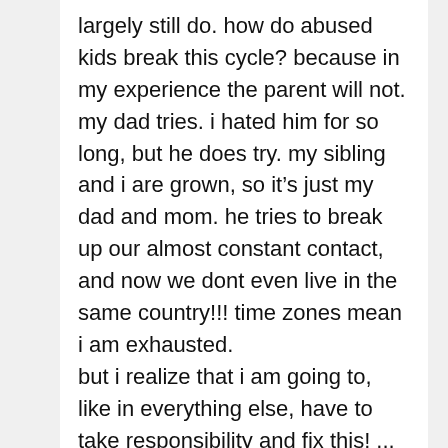largely still do. how do abused kids break this cycle? because in my experience the parent will not. my dad tries. i hated him for so long, but he does try. my sibling and i are grown, so it’s just my dad and mom. he tries to break up our almost constant contact, and now we dont even live in the same country!!! time zones mean i am exhausted. but i realize that i am going to, like in everything else, have to take responsibility and fix this! ... they call this “spousification”- well i want a divorce!!! thanks for posting this and for any